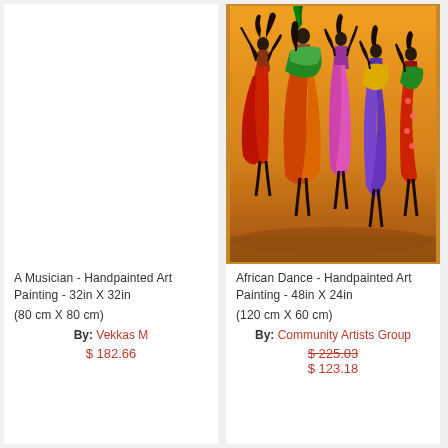[Figure (illustration): A Musician - Handpainted Art Painting placeholder (white/blank area)]
A Musician - Handpainted Art Painting - 32in X 32in
(80 cm X 80 cm)
By: Vekkas M
$ 182.66
[Figure (illustration): African Dance - Handpainted Art Painting showing colorful figures of women dancing in vibrant flowing garments against a warm orange/golden background]
African Dance - Handpainted Art Painting - 48in X 24in
(120 cm X 60 cm)
By: Community Artists Group
$ 225.03
$ 123.18